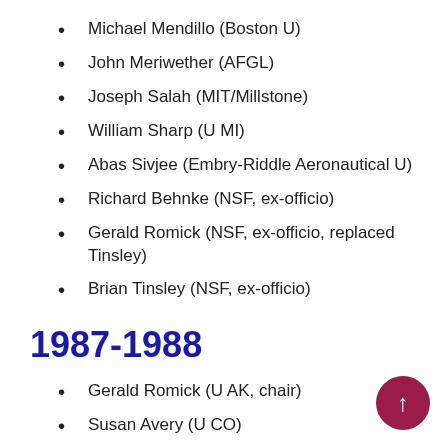Michael Mendillo (Boston U)
John Meriwether (AFGL)
Joseph Salah (MIT/Millstone)
William Sharp (U MI)
Abas Sivjee (Embry-Riddle Aeronautical U)
Richard Behnke (NSF, ex-officio)
Gerald Romick (NSF, ex-officio, replaced Tinsley)
Brian Tinsley (NSF, ex-officio)
1987-1988
Gerald Romick (U AK, chair)
Susan Avery (U CO)
Andrew Christensen (Aerospace Corp)